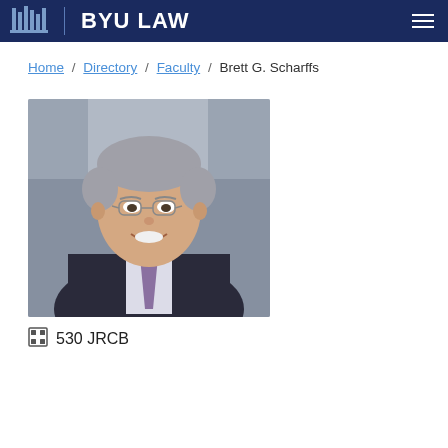BYU LAW
Home / Directory / Faculty / Brett G. Scharffs
[Figure (photo): Professional headshot of Brett G. Scharffs, a middle-aged man with grey hair, glasses, wearing a dark suit and light purple tie, smiling against a blurred outdoor background.]
530 JRCB